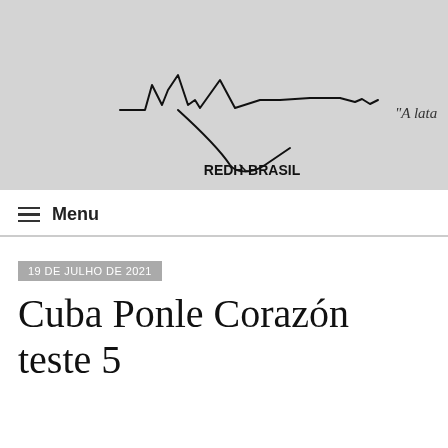[Figure (logo): REDH-BRASIL logo with stylized signature/line art on grey background and cursive text 'A lata' at right edge]
≡  Menu
19 DE JULHO DE 2021
Cuba Ponle Corazón teste 5